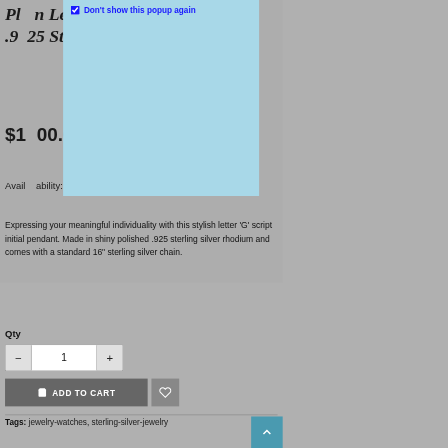Plain Letter G Script Pendant – .925 Sterling Silver
[Figure (screenshot): Popup overlay with checkbox 'Don't show this popup again' on light blue background]
$100.64 $149.00
Availability: In Stock
Expressing your meaningful individuality with this stylish letter 'G' script initial pendant. Made in shiny polished .925 sterling silver rhodium and comes with a standard 16" sterling silver chain.
Qty
1
ADD TO CART
Tags:  jewelry-watches,  sterling-silver-jewelry